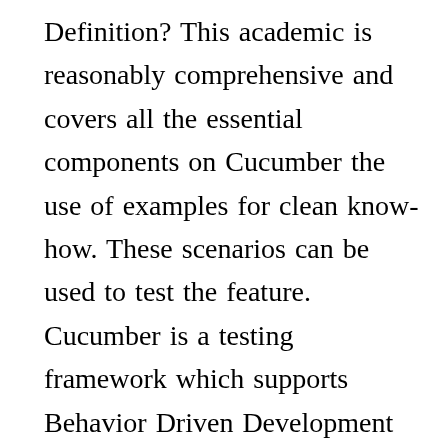Definition? This academic is reasonably comprehensive and covers all the essential components on Cucumber the use of examples for clean know-how. These scenarios can be used to test the feature. Cucumber is a testing framework which supports Behavior Driven Development (BDD). Go to File > Settings and select the Plugins section. This tutorial will tell you how to get started with Cucumber-jvm in Java. SMO (Social Media Optimization) PHP with MySQL. Add your logic for each step definition that was created. To create a new Maven project in IntelliJ: You should now have a project with the following structure: Add Cucumber to your project by adding a dependency to your